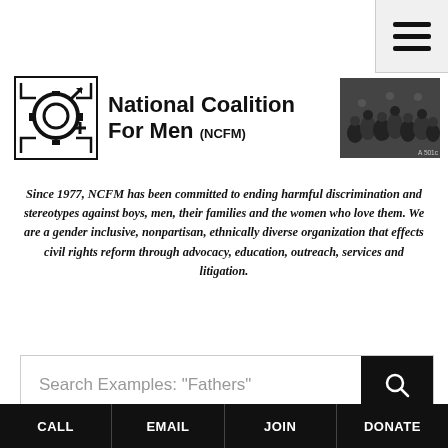[Figure (logo): Hamburger menu icon (three horizontal bars) in top-right corner]
[Figure (logo): National Coalition For Men (NCFM) logo with stylized male/female symbol icon and group photo]
Since 1977, NCFM has been committed to ending harmful discrimination and stereotypes against boys, men, their families and the women who love them. We are a gender inclusive, nonpartisan, ethnically diverse organization that effects civil rights reform through advocacy, education, outreach, services and litigation.
[Figure (screenshot): Search bar with placeholder text: Search Examples: "Fathers" and a search button]
NCFM Canadian Liaison Earl Silverman, Murdered
CALL | EMAIL | JOIN | DONATE